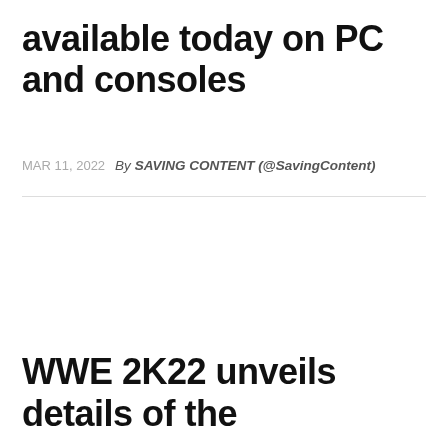available today on PC and consoles
MAR 11, 2022   By SAVING CONTENT (@SavingContent)
WWE 2K22 unveils details of the